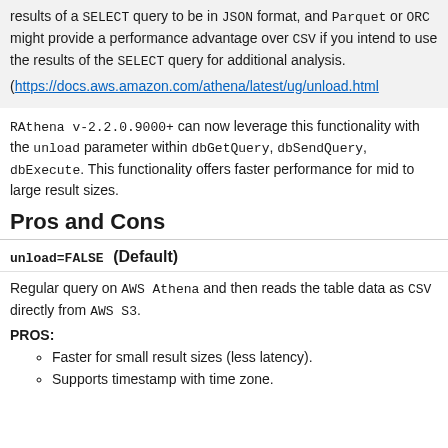results of a SELECT query to be in JSON format, and Parquet or ORC might provide a performance advantage over CSV if you intend to use the results of the SELECT query for additional analysis.
(https://docs.aws.amazon.com/athena/latest/ug/unload.html
RAthena v-2.2.0.9000+ can now leverage this functionality with the unload parameter within dbGetQuery, dbSendQuery, dbExecute. This functionality offers faster performance for mid to large result sizes.
Pros and Cons
unload=FALSE (Default)
Regular query on AWS Athena and then reads the table data as CSV directly from AWS S3.
PROS:
Faster for small result sizes (less latency).
Supports timestamp with time zone.